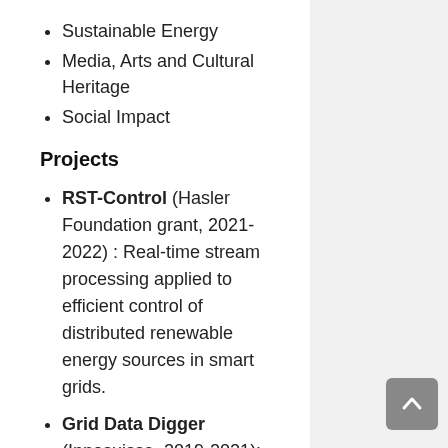Sustainable Energy
Media, Arts and Cultural Heritage
Social Impact
Projects
RST-Control (Hasler Foundation grant, 2021-2022) : Real-time stream processing applied to efficient control of distributed renewable energy sources in smart grids.
Grid Data Digger (Innosuisse, 2019-2021): An automated Distribution Grid Operation Assistance Tool using Data-Driven solutions on a big-